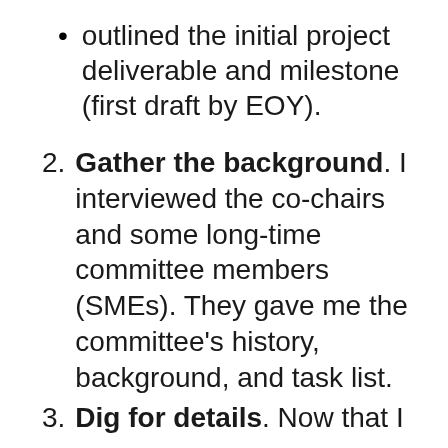outlined the initial project deliverable and milestone (first draft by EOY).
Gather the background. I interviewed the co-chairs and some long-time committee members (SMEs). They gave me the committee's history, background, and task list.
Dig for details. Now that I